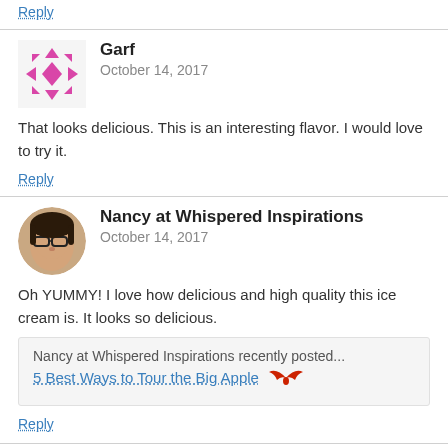Reply
Garf
October 14, 2017
That looks delicious. This is an interesting flavor. I would love to try it.
Reply
Nancy at Whispered Inspirations
October 14, 2017
Oh YUMMY! I love how delicious and high quality this ice cream is. It looks so delicious.
Nancy at Whispered Inspirations recently posted...
5 Best Ways to Tour the Big Apple
Reply